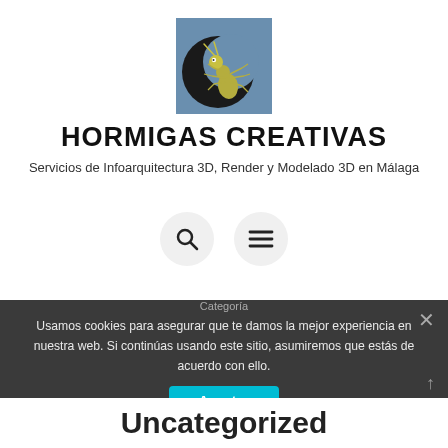[Figure (logo): Hormigas Creativas logo: cartoon ant on a dark crescent moon shape on blue background]
HORMIGAS CREATIVAS
Servicios de Infoarquitectura 3D, Render y Modelado 3D en Málaga
[Figure (other): Navigation icons: search (magnifying glass) and menu (hamburger) buttons in circular gray backgrounds]
Usamos cookies para asegurar que te damos la mejor experiencia en nuestra web. Si continúas usando este sitio, asumiremos que estás de acuerdo con ello.
Aceptar
Categoría
Uncategorized